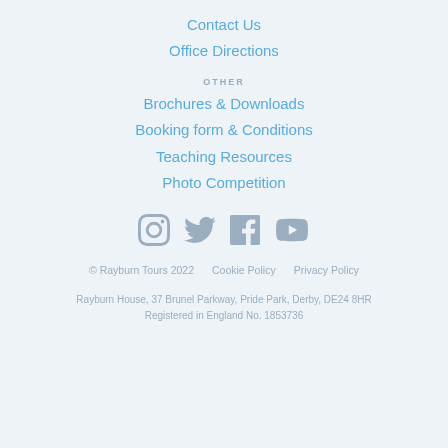Contact Us
Office Directions
OTHER
Brochures & Downloads
Booking form & Conditions
Teaching Resources
Photo Competition
[Figure (illustration): Social media icons: Instagram, Twitter, Facebook, YouTube in grey-blue color]
© Rayburn Tours 2022    Cookie Policy         Privacy Policy
Rayburn House, 37 Brunel Parkway, Pride Park, Derby, DE24 8HR
Registered in England No. 1853736